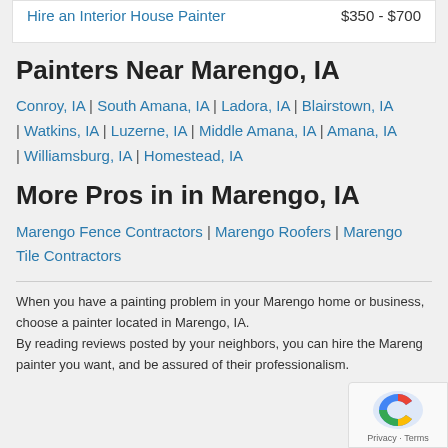| Service | Price |
| --- | --- |
| Hire an Interior House Painter | $350 - $700 |
Painters Near Marengo, IA
Conroy, IA | South Amana, IA | Ladora, IA | Blairstown, IA | Watkins, IA | Luzerne, IA | Middle Amana, IA | Amana, IA | Williamsburg, IA | Homestead, IA
More Pros in in Marengo, IA
Marengo Fence Contractors | Marengo Roofers | Marengo Tile Contractors
When you have a painting problem in your Marengo home or business, choose a painter located in Marengo, IA.
By reading reviews posted by your neighbors, you can hire the Marengo painter you want, and be assured of their professionalism.